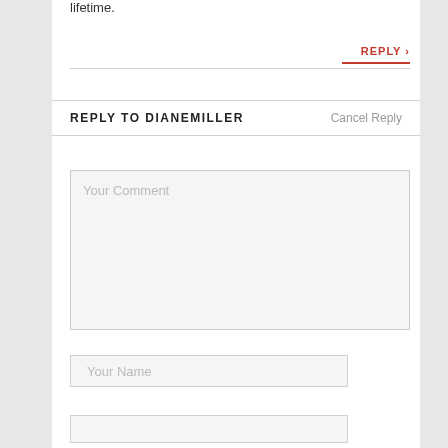lifetime.
REPLY ›
REPLY TO DIANEMILLER
Cancel Reply
Your Comment
Your Name